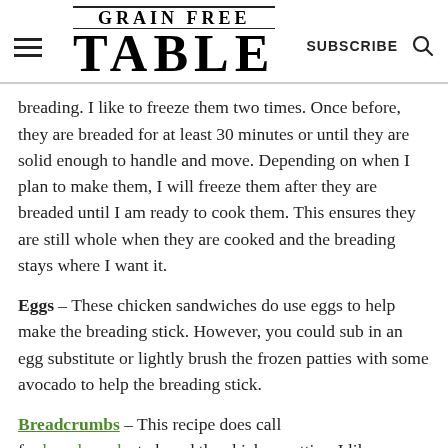GRAIN FREE TABLE | SUBSCRIBE
breading. I like to freeze them two times. Once before, they are breaded for at least 30 minutes or until they are solid enough to handle and move. Depending on when I plan to make them, I will freeze them after they are breaded until I am ready to cook them. This ensures they are still whole when they are cooked and the breading stays where I want it.
Eggs – These chicken sandwiches do use eggs to help make the breading stick. However, you could sub in an egg substitute or lightly brush the frozen patties with some avocado to help the breading stick.
Breadcrumbs – This recipe does call for breadcrumbs to bread the chicken patties. I like